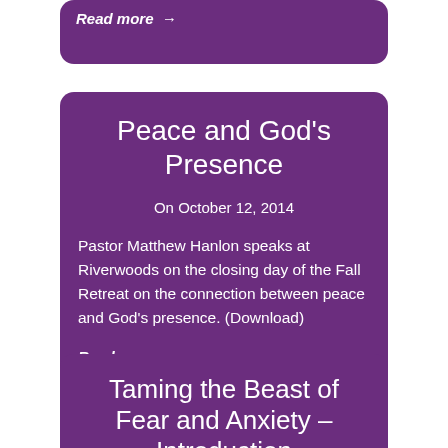Read more →
Peace and God's Presence
On October 12, 2014
Pastor Matthew Hanlon speaks at Riverwoods on the closing day of the Fall Retreat on the connection between peace and God's presence. (Download)
Read more →
Taming the Beast of Fear and Anxiety – Introduction
On October 5, 2014